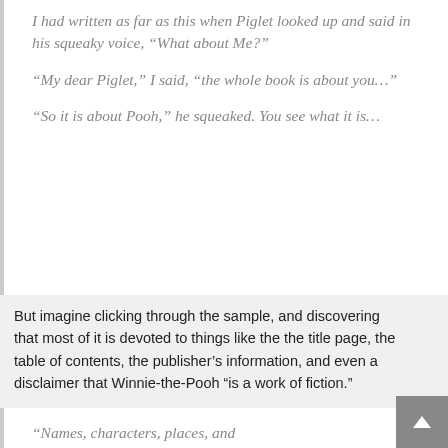I had written as far as this when Piglet looked up and said in his squeaky voice, “What about Me?”
“My dear Piglet,” I said, “the whole book is about you…”
“So it is about Pooh,” he squeaked. You see what it is…
But imagine clicking through the sample, and discovering that most of it is devoted to things like the the title page, the table of contents, the publisher’s information, and even a disclaimer that Winnie-the-Pooh “is a work of fiction.”
“Names, characters, places, and